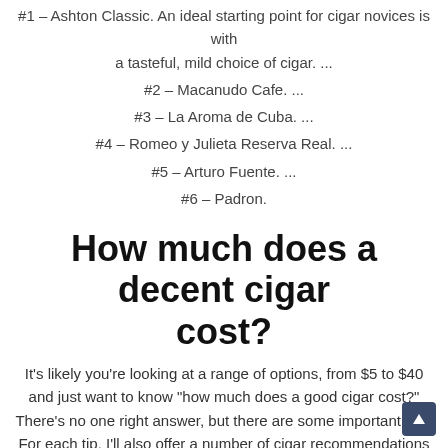#1 – Ashton Classic. An ideal starting point for cigar novices is with a tasteful, mild choice of cigar. ...
#2 – Macanudo Cafe. ...
#3 – La Aroma de Cuba. ...
#4 – Romeo y Julieta Reserva Real. ...
#5 – Arturo Fuente. ...
#6 – Padron.
How much does a decent cigar cost?
It's likely you're looking at a range of options, from $5 to $40 and just want to know “how much does a good cigar cost?” There’s no one right answer, but there are some important tips. For each tip, I’ll also offer a number of cigar recommendations based on my personal experience (including price and cigar strength).
Do cigars get you high?
Despite what you might have heard, cigar smoking isn’t safer than cigarette smoking — even if you don’t intentionally inhale the smoke. Like cigarette smoking, cigar smoking exposes you to: Nicotine. Cigars, like cigarettes, contain nicotine, the substance that